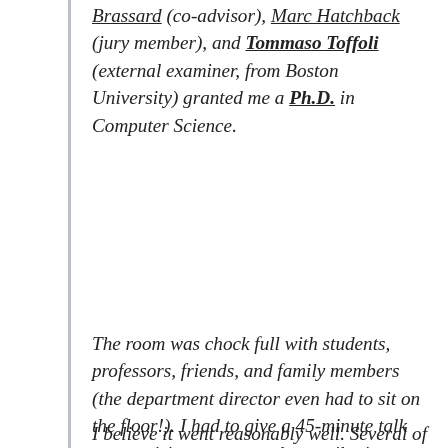Brassard (co-advisor), Marc Hatchback (jury member), and Tommaso Toffoli (external examiner, from Boston University) granted me a Ph.D. in Computer Science.
The room was chock full with students, professors, friends, and family members (the department director even had to sit on the floor!). I had to give a 45-minute talk summarizing my research contributions and to field questions from the jury and the audience.
I believe it went reasonably well. Several of my friends and family members were